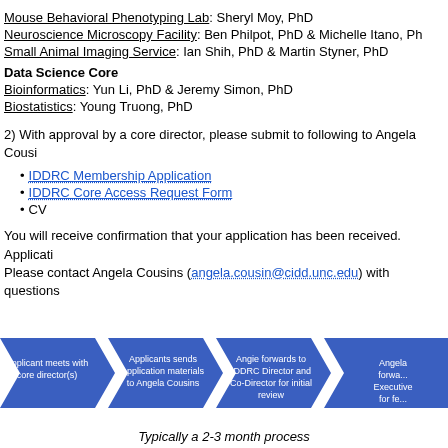Mouse Behavioral Phenotyping Lab: Sheryl Moy, PhD
Neuroscience Microscopy Facility: Ben Philpot, PhD & Michelle Itano, Ph
Small Animal Imaging Service: Ian Shih, PhD & Martin Styner, PhD
Data Science Core
Bioinformatics: Yun Li, PhD & Jeremy Simon, PhD
Biostatistics: Young Truong, PhD
2) With approval by a core director, please submit to following to Angela Cousi
IDDRC Membership Application
IDDRC Core Access Request Form
CV
You will receive confirmation that your application has been received. Applicati
Please contact Angela Cousins (angela.cousin@cidd.unc.edu) with questions
[Figure (flowchart): Horizontal flowchart with blue chevron arrows showing 4 steps: 1) Applicant meets with core director(s), 2) Applicants sends application materials to Angela Cousins, 3) Angie forwards to IDDRC Director and Co-Director for initial review, 4) Angela forwards to Executive (partial, cut off)]
Typically a 2-3 month process